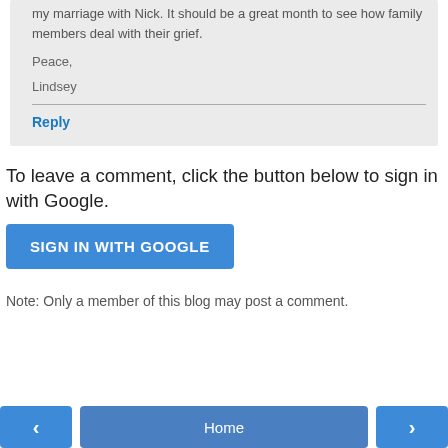my marriage with Nick. It should be a great month to see how family members deal with their grief.
Peace,
Lindsey
Reply
To leave a comment, click the button below to sign in with Google.
SIGN IN WITH GOOGLE
Note: Only a member of this blog may post a comment.